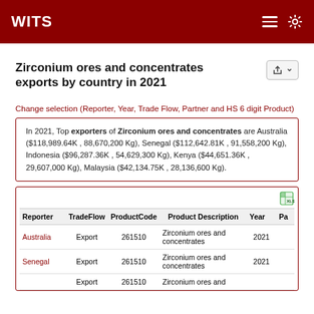WITS
Zirconium ores and concentrates exports by country in 2021
Change selection (Reporter, Year, Trade Flow, Partner and HS 6 digit Product)
In 2021, Top exporters of Zirconium ores and concentrates are Australia ($118,989.64K , 88,670,200 Kg), Senegal ($112,642.81K , 91,558,200 Kg), Indonesia ($96,287.36K , 54,629,300 Kg), Kenya ($44,651.36K , 29,607,000 Kg), Malaysia ($42,134.75K , 28,136,600 Kg).
| Reporter | TradeFlow | ProductCode | Product Description | Year | Pa |
| --- | --- | --- | --- | --- | --- |
| Australia | Export | 261510 | Zirconium ores and concentrates | 2021 |  |
| Senegal | Export | 261510 | Zirconium ores and concentrates | 2021 |  |
|  | Export | 261510 | Zirconium ores and concentrates |  |  |